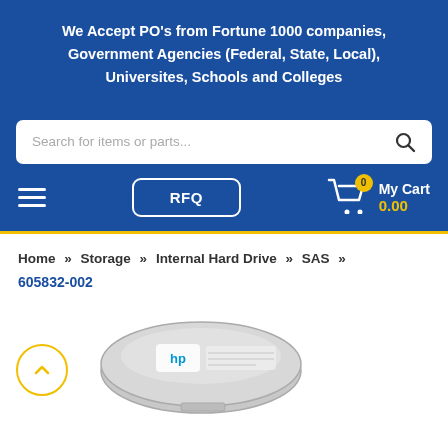We Accept PO's from Fortune 1000 companies, Government Agencies (Federal, State, Local), Universites, Schools and Colleges
[Figure (screenshot): Search bar with placeholder text 'Search for items or parts...' and a search icon]
[Figure (screenshot): Navigation bar with hamburger menu, RFQ button, and My Cart (0) showing 0.00]
Home » Storage » Internal Hard Drive » SAS » 605832-002
[Figure (photo): HP internal hard drive (SAS) product image, partially visible at bottom of page, with a yellow scroll-to-top circular button on the left]